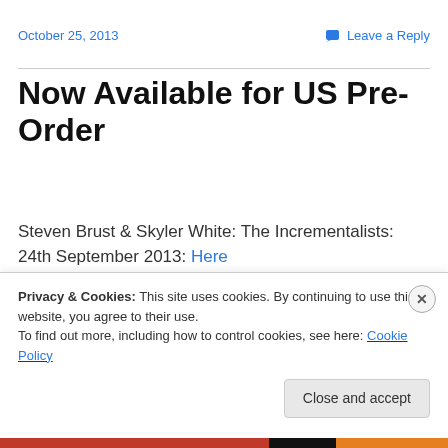October 25, 2013   Leave a Reply
Now Available for US Pre-Order
Steven Brust & Skyler White: The Incrementalists: 24th September 2013: Here
Lauren Dane & Megan Hart: There All Along: 3rd December 2013: Here
Privacy & Cookies: This site uses cookies. By continuing to use this website, you agree to their use.
To find out more, including how to control cookies, see here: Cookie Policy
Close and accept